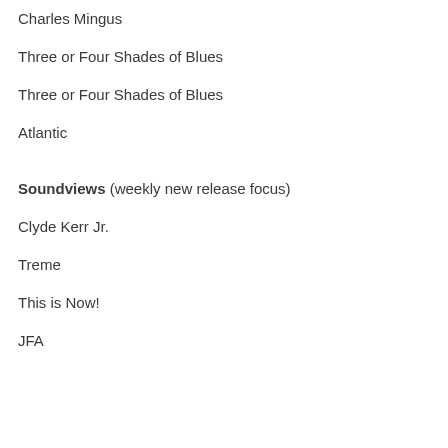Charles Mingus
Three or Four Shades of Blues
Three or Four Shades of Blues
Atlantic
Soundviews (weekly new release focus)
Clyde Kerr Jr.
Treme
This is Now!
JFA